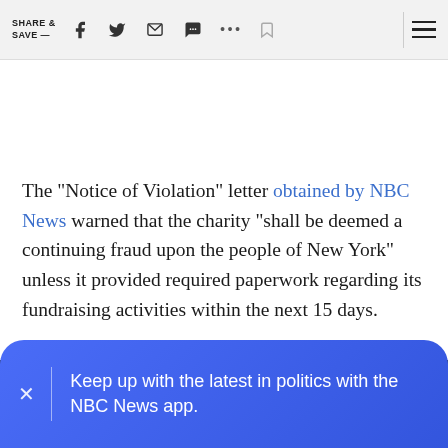SHARE & SAVE —  [icons: facebook, twitter, email, chat, more, bookmark, menu]
The “Notice of Violation” letter obtained by NBC News warned that the charity “shall be deemed a continuing fraud upon the people of New York” unless it provided required paperwork regarding its fundraising activities within the next 15 days.
Keep up with the latest in politics with the NBC News app.